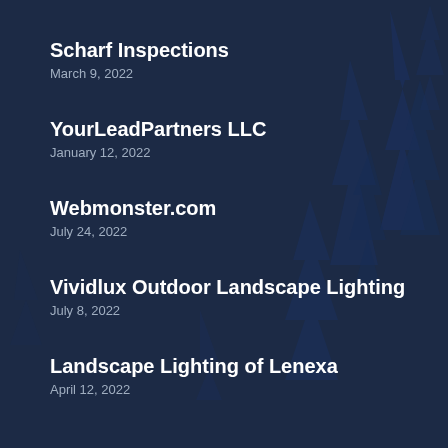Scharf Inspections
March 9, 2022
YourLeadPartners LLC
January 12, 2022
Webmonster.com
July 24, 2022
Vividlux Outdoor Landscape Lighting
July 8, 2022
Landscape Lighting of Lenexa
April 12, 2022